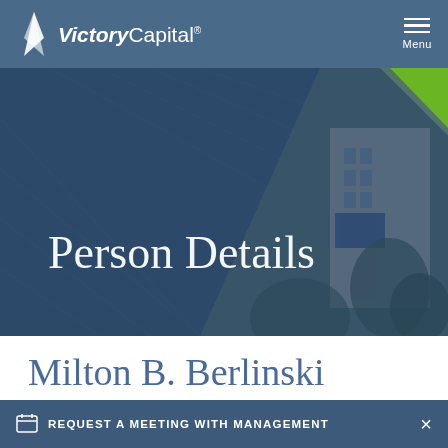[Figure (logo): Victory Capital logo with stylized white sail/flame icon and white text 'VictoryCapital' with registered trademark symbol]
[Figure (screenshot): Hero banner showing 'Person Details' in large white serif text over a dark blue geometric background with a photo of a Victory Capital building and green diamond accent in upper right]
Milton B. Berlinski
Director
REQUEST A MEETING WITH MANAGEMENT